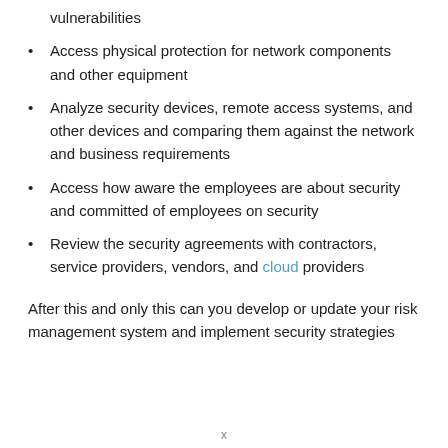vulnerabilities
Access physical protection for network components and other equipment
Analyze security devices, remote access systems, and other devices and comparing them against the network and business requirements
Access how aware the employees are about security and committed of employees on security
Review the security agreements with contractors, service providers, vendors, and cloud providers
After this and only this can you develop or update your risk management system and implement security strategies